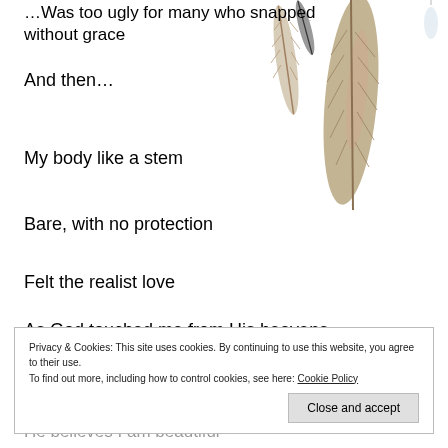[Figure (illustration): Feathers hanging/falling against a white background, positioned in the upper-right area of the page]
…Was too ugly for many who snapped without grace
And then…
My body like a stem
Bare, with no protection
Felt the realist love
As God touched me from His heavens
In my mind, spun and confused
Privacy & Cookies: This site uses cookies. By continuing to use this website, you agree to their use.
To find out more, including how to control cookies, see here: Cookie Policy
Close and accept
He believes I am beautiful